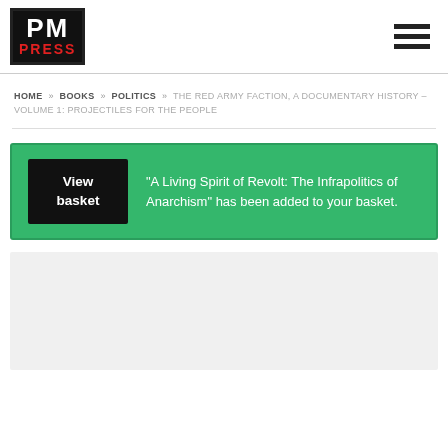[Figure (logo): PM Press logo — black box with white PM text and red PRESS text]
HOME » BOOKS » POLITICS » THE RED ARMY FACTION, A DOCUMENTARY HISTORY – VOLUME 1: PROJECTILES FOR THE PEOPLE
"A Living Spirit of Revolt: The Infrapolitics of Anarchism" has been added to your basket.